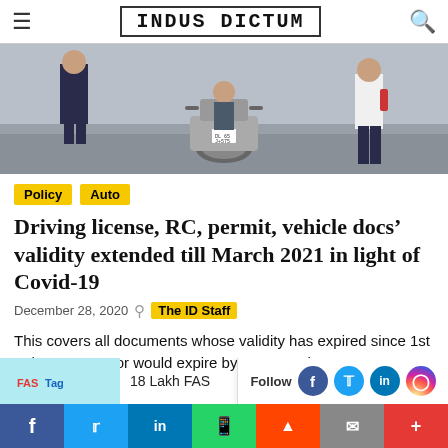INDUS DICTUM
[Figure (photo): Two people near a motorcycle on a road, possibly a traffic police stop scene]
Policy
Auto
Driving license, RC, permit, vehicle docs' validity extended till March 2021 in light of Covid-19
December 28, 2020  The ID Staff
This covers all documents whose validity has expired since 1st February 2020 or would expire by 31st March 2021.
[Figure (screenshot): Next article preview bar with FASTag logo and headline '18 Lakh FAS...']
Social share bar: f, Twitter, in, WhatsApp, Reddit, email, +